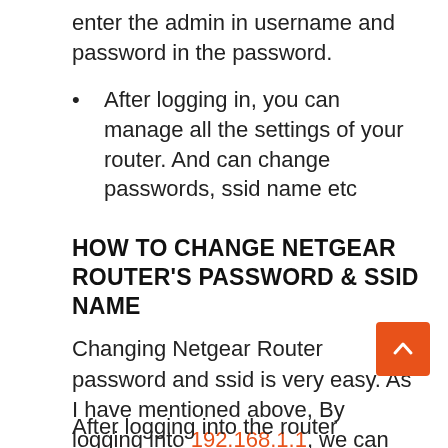enter the admin in username and password in the password.
After logging in, you can manage all the settings of your router. And can change passwords, ssid name etc
HOW TO CHANGE NETGEAR ROUTER'S PASSWORD & SSID NAME
Changing Netgear Router password and ssid is very easy. As I have mentioned above, By logging into 192.168.1.1, we can manage Netgear Router settings. To change its password and ssid , Log in to the router Dashboard.
After logging into the router